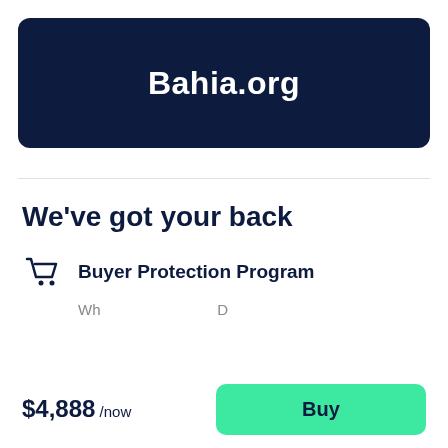Bahia.org
We've got your back
Buyer Protection Program
Wh... (description partially visible)
$4,888 /now
Buy